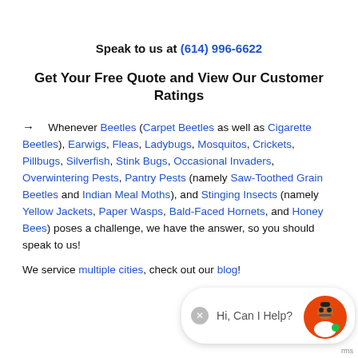Speak to us at (614) 996-6622
Get Your Free Quote and View Our Customer Ratings
Whenever Beetles (Carpet Beetles as well as Cigarette Beetles), Earwigs, Fleas, Ladybugs, Mosquitos, Crickets, Pillbugs, Silverfish, Stink Bugs, Occasional Invaders, Overwintering Pests, Pantry Pests (namely Saw-Toothed Grain Beetles and Indian Meal Moths), and Stinging Insects (namely Yellow Jackets, Paper Wasps, Bald-Faced Hornets, and Honey Bees) poses a challenge, we have the answer, so you should speak to us!
We service multiple cities, check out our blog!